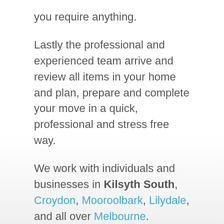you require anything.
Lastly the professional and experienced team arrive and review all items in your home and plan, prepare and complete your move in a quick, professional and stress free way.
We work with individuals and businesses in Kilsyth South, Croydon, Mooroolbark, Lilydale, and all over Melbourne.